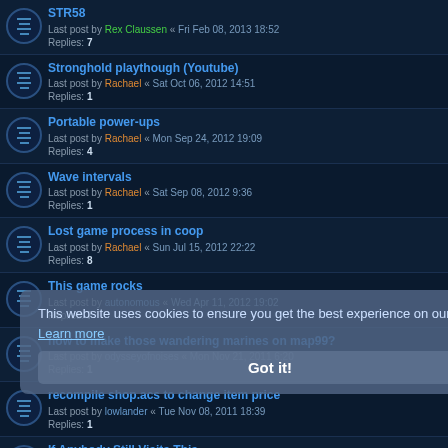STR58 | Last post by Rex Claussen « Fri Feb 08, 2013 18:52 | Replies: 7
Stronghold playthough (Youtube) | Last post by Rachael « Sat Oct 06, 2012 14:51 | Replies: 1
Portable power-ups | Last post by Rachael « Mon Sep 24, 2012 19:09 | Replies: 4
Wave intervals | Last post by Rachael « Sat Sep 08, 2012 9:36 | Replies: 1
Lost game process in coop | Last post by Rachael « Sun Jul 15, 2012 22:22 | Replies: 8
This game rocks | Last post by autonomous « Wed Apr 11, 2012 19:02 | Replies: 7
how to make those wandering marines on map99? | Last post by odysseyofnoises « Mon Nov 21, 2011 6:20 | Replies: 1
recompile shop.acs to change item price | Last post by lowlander « Tue Nov 08, 2011 18:39 | Replies: 1
If Anybody Still Visits This... | Last post by Gez « Sat Jun 11, 2011 13:22 | Replies: 1
Things to consider... | Last post by Tormentor667 « Mon Dec 06, 2010 12:32 | Replies: 1
This website uses cookies to ensure you get the best experience on our website. Learn more
Got it!